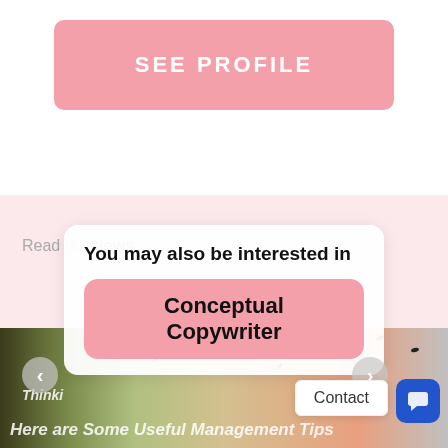[Figure (screenshot): Pink 'SEE PROFILE' button on white background]
Read our News
You may also be interested in
Conceptual Copywriter
[Figure (photo): Background image with ants on sandy surface with navigation arrows, text overlays reading 'Thinki' and 'Here are Some Useful Management Tips', Contact button, and chat button]
Contact